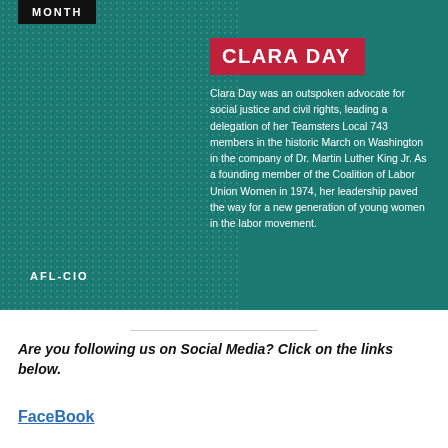[Figure (infographic): Teal background infographic with halftone portrait of Clara Day on the left. Top-left has a black label reading 'MONTH'. Right side has a red banner with 'CLARA DAY' in white bold text, followed by a biography paragraph in white. Bottom-left shows 'AFL-CIO' in white uppercase text.]
CLARA DAY
Clara Day was an outspoken advocate for social justice and civil rights, leading a delegation of her Teamsters Local 743 members in the historic March on Washington in the company of Dr. Martin Luther King Jr. As a founding member of the Coalition of Labor Union Women in 1974, her leadership paved the way for a new generation of young women in the labor movement.
AFL-CIO
Are you following us on Social Media? Click on the links below.
FaceBook